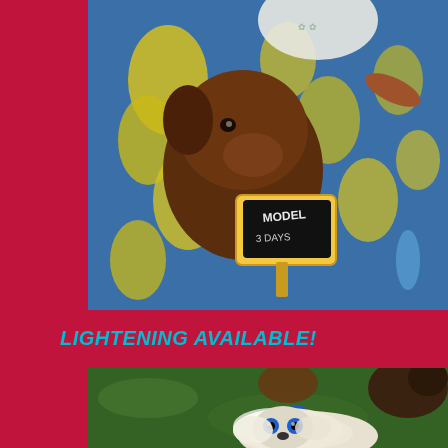[Figure (photo): A brown puppy viewed from above, lying on a blue and yellow floral fabric, holding a small chalkboard sign that reads 'MODEL'. There are also a sausage-shaped object and a blue object visible on the fabric.]
LIGHTENING AVAILABLE!
[Figure (photo): Two puppies photographed from above on grass — a fluffy white/cream puppy with striking blue eyes in the foreground, and a darker puppy partially visible. A small blue toy is also visible on the grass.]